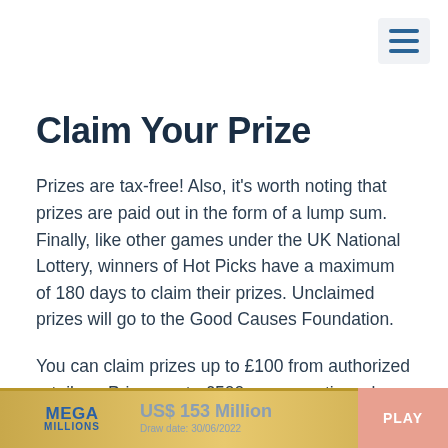[Figure (other): Hamburger menu icon with three horizontal blue lines on a light gray background, top right corner]
Claim Your Prize
Prizes are tax-free! Also, it's worth noting that prizes are paid out in the form of a lump sum. Finally, like other games under the UK National Lottery, winners of Hot Picks have a maximum of 180 days to claim their prizes. Unclaimed prizes will go to the Good Causes Foundation.
You can claim prizes up to £100 from authorized retailers. Prizes up to £500 can sometimes be claimed at the bigger retailers and some post offices. Prizes up to
[Figure (other): Footer banner advertisement for Mega Millions lottery showing US$ 153 Million prize, Draw date: 30/06/2022, and a PLAY button]